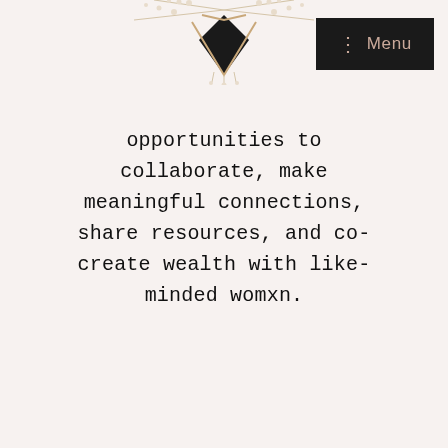[Figure (illustration): Decorative geometric jewelry or brooch illustration with black diamond/chevron shape, gold/pearl embellishments, partially cropped at top of page]
Menu
opportunities to collaborate, make meaningful connections, share resources, and co-create wealth with like-minded womxn.